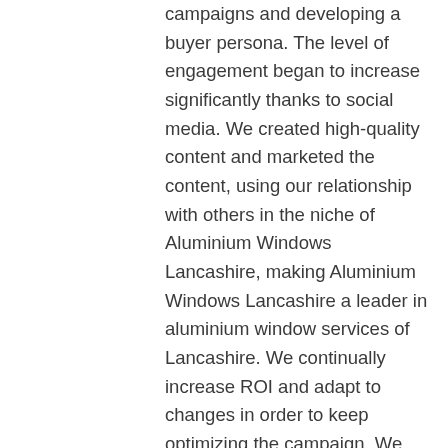campaigns and developing a buyer persona. The level of engagement began to increase significantly thanks to social media. We created high-quality content and marketed the content, using our relationship with others in the niche of Aluminium Windows Lancashire, making Aluminium Windows Lancashire a leader in aluminium window services of Lancashire. We continually increase ROI and adapt to changes in order to keep optimizing the campaign. We created a brand voice for our client that was solid both on and offline. We implemented several online branding techniques that ensured that our clients brand stood out in all our marketing campaign.